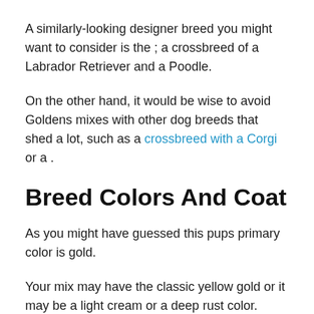A similarly-looking designer breed you might want to consider is the ; a crossbreed of a Labrador Retriever and a Poodle.
On the other hand, it would be wise to avoid Goldens mixes with other dog breeds that shed a lot, such as a crossbreed with a Corgi or a .
Breed Colors And Coat
As you might have guessed this pups primary color is gold.
Your mix may have the classic yellow gold or it may be a light cream or a deep rust color.
Again as they are a hybrid they could have a .